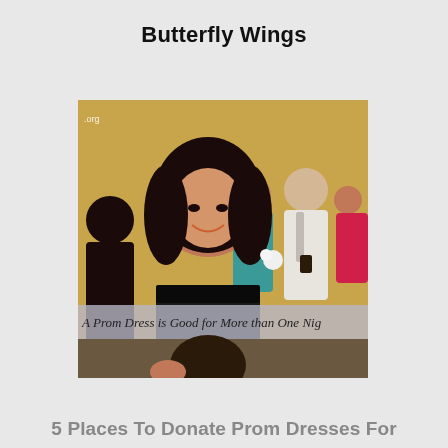Butterfly Wings
[Figure (photo): A smiling young woman in a black strapless dress in the foreground, with a group of people in formal attire at a prom or formal event behind her. A semi-transparent banner overlay reads 'A Prom Dress is Good for More than One Nig...' A watermark '.org' is visible in the top left of the image.]
A Prom Dress is Good for More than One Nig
5 Places To Donate Prom Dresses For